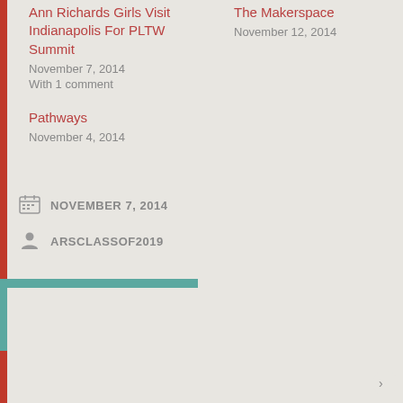Ann Richards Girls Visit Indianapolis For PLTW Summit
November 7, 2014
With 1 comment
Pathways
November 4, 2014
The Makerspace
November 12, 2014
NOVEMBER 7, 2014
ARSCLASSOF2019
Privacy & Cookies: This site uses cookies. By continuing to use this website, you agree to their use. To find out more, including how to control cookies, see here: Cookie Policy
Close and accept